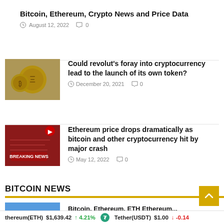Bitcoin, Ethereum, Crypto News and Price Data
August 12, 2022  0
[Figure (photo): Gold cryptocurrency coins (Ethereum/Bitcoin) on a dark background with dollar bills]
Could revolut’s foray into cryptocurrency lead to the launch of its own token?
December 20, 2021  0
[Figure (photo): Breaking News banner on dark red background with Y logo]
Ethereum price drops dramatically as bitcoin and other cryptocurrency hit by major crash
May 12, 2022  0
BITCOIN NEWS
[Figure (photo): Partial thumbnail of next article, blue image]
Bitcoin, Ethereum, ETH Ethereum...
thereum(ETH) $1,639.42 ↑ 4.21%  Tether(USDT) $1.00 ↓ -0.14